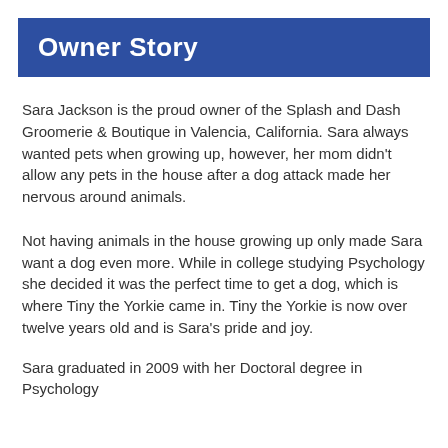Owner Story
Sara Jackson is the proud owner of the Splash and Dash Groomerie & Boutique in Valencia, California. Sara always wanted pets when growing up, however, her mom didn't allow any pets in the house after a dog attack made her nervous around animals.
Not having animals in the house growing up only made Sara want a dog even more. While in college studying Psychology she decided it was the perfect time to get a dog, which is where Tiny the Yorkie came in. Tiny the Yorkie is now over twelve years old and is Sara's pride and joy.
Sara graduated in 2009 with her Doctoral degree in Psychology